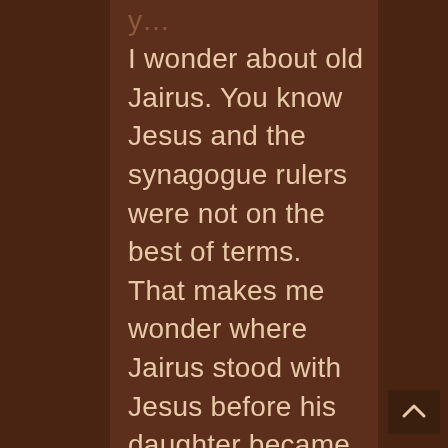I wonder about old Jairus. You know Jesus and the synagogue rulers were not on the best of terms. That makes me wonder where Jairus stood with Jesus before his daughter became ill. I just imagined this morning as I read this passage that he may well have been one of those people who stood in the synagogue courtyard